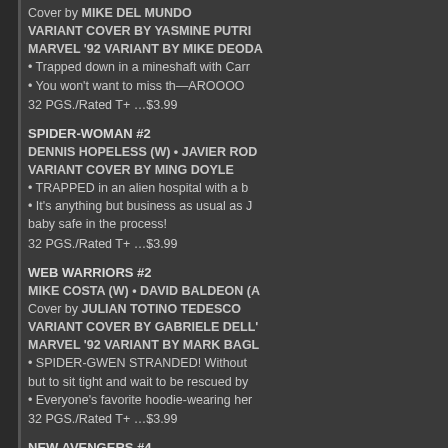Cover by MIKE DEL MUNDO
VARIANT COVER BY YASMINE PUTRI
MARVEL '92 VARIANT BY MIKE DEODA
• Trapped down in a mineshaft with Carr
• You won't want to miss th—AROOOO
32 PGS./Rated T+ …$3.99
SPIDER-WOMAN #2
DENNIS HOPELESS (W) • JAVIER ROD
VARIANT COVER BY MING DOYLE
• TRAPPED in an alien hospital with a b
• It's anything but business as usual as J
baby safe in the process!
32 PGS./Rated T+ …$3.99
WEB WARRIORS #2
MIKE COSTA (W) • DAVID BALDEON (A
Cover by JULIAN TOTINO TEDESCO
VARIANT COVER BY GABRIELE DELL'
MARVEL '92 VARIANT BY MARK BAGL
• SPIDER-GWEN STRANDED! Without
but to sit tight and wait to be rescued by
• Everyone's favorite hoodie-wearing her
32 PGS./Rated T+ …$3.99
NEW AVENGERS #4
AL EWING (W) • GERARDO SANDOV